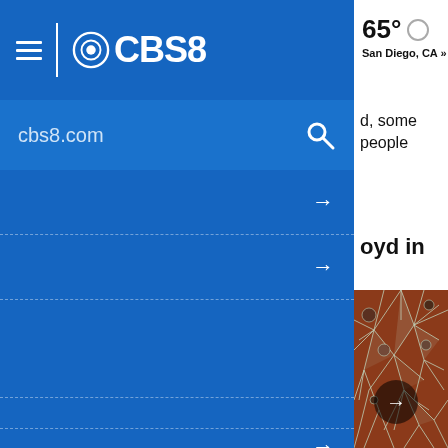CBS8 navigation bar with hamburger menu and CBS8 logo
65° San Diego, CA »
cbs8.com
d, some people
oyd in
[Figure (screenshot): Broken glass photo with circular arrow button overlay]